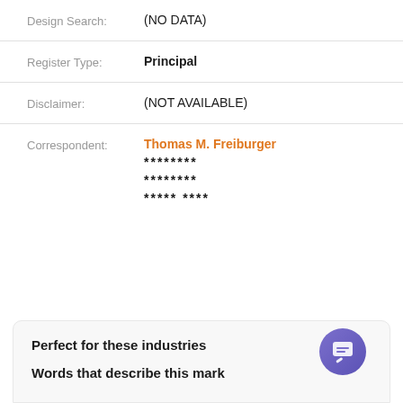Design Search: (NO DATA)
Register Type: Principal
Disclaimer: (NOT AVAILABLE)
Correspondent: Thomas M. Freiburger ******** ******** ***** ****
Perfect for these industries
Words that describe this mark